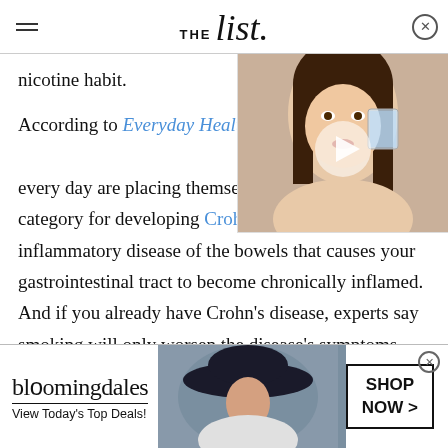THE list
nicotine habit.
[Figure (photo): Woman drinking from a glass of water, promotional popup image]
According to Everyday Health, [people who smoke] every day are placing themselves in the highest risk category for developing Crohn's disease, an inflammatory disease of the bowels that causes your gastrointestinal tract to become chronically inflamed. And if you already have Crohn's disease, experts say smoking will only worsen the disease's symptoms. "It's not absolutely hashed out yet that [smoking] is a
[Figure (advertisement): Bloomingdale's advertisement: View Today's Top Deals! Shop Now >]